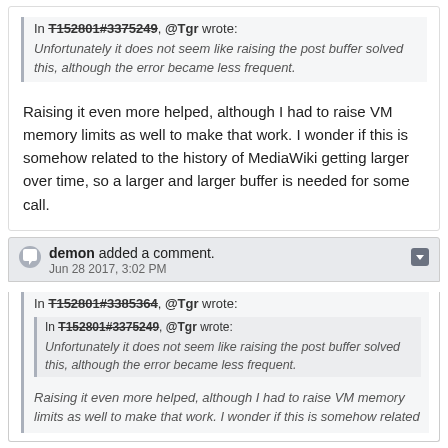In T152801#3375249, @Tgr wrote:
Unfortunately it does not seem like raising the post buffer solved this, although the error became less frequent.
Raising it even more helped, although I had to raise VM memory limits as well to make that work. I wonder if this is somehow related to the history of MediaWiki getting larger over time, so a larger and larger buffer is needed for some call.
demon added a comment. Jun 28 2017, 3:02 PM
In T152801#3385364, @Tgr wrote:
In T152801#3375249, @Tgr wrote:
Unfortunately it does not seem like raising the post buffer solved this, although the error became less frequent.
Raising it even more helped, although I had to raise VM memory limits as well to make that work. I wonder if this is somehow related